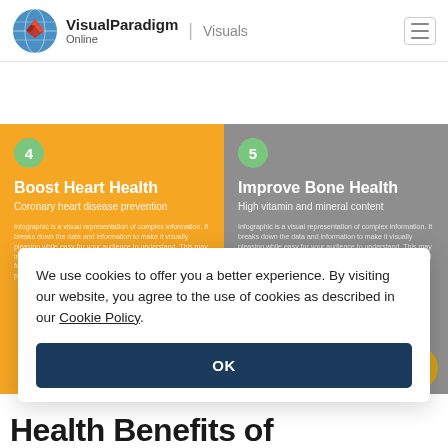[Figure (logo): Visual Paradigm Online logo with globe and diamond icon]
[Figure (infographic): Two-panel infographic. Left panel (orange): Step 4 - Boost Heart Health, Coronary heart disease prevention. Right panel (grey): Step 5 - Improve Bone Health, High vitamin and mineral content. Both panels contain descriptive body text about infographics.]
We use cookies to offer you a better experience. By visiting our website, you agree to the use of cookies as described in our Cookie Policy.
OK
Health Benefits of